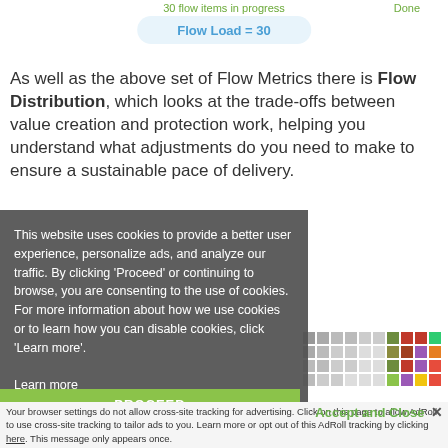30 flow items in progress
Done
Flow Load = 30
As well as the above set of Flow Metrics there is Flow Distribution, which looks at the trade-offs between value creation and protection work, helping you understand what adjustments do you need to make to ensure a sustainable pace of delivery.
[Figure (other): Heatmap grid showing colored squares in greens, browns, purples, oranges, yellows]
This website uses cookies to provide a better user experience, personalize ads, and analyze our traffic. By clicking ‘Proceed’ or continuing to browse, you are consenting to the use of cookies. For more information about how we use cookies or to learn how you can disable cookies, click ‘Learn more’.
Learn more
PROCEED
Accept and Close ×
Your browser settings do not allow cross-site tracking for advertising. Click on this page to allow AdRoll to use cross-site tracking to tailor ads to you. Learn more or opt out of this AdRoll tracking by clicking here. This message only appears once.